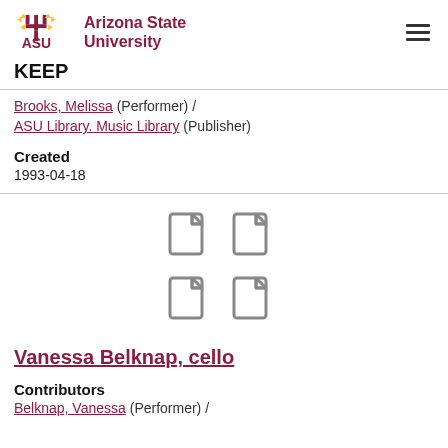ASU Arizona State University | KEEP
Brooks, Melissa (Performer) / ASU Library. Music Library (Publisher)
Created
1993-04-18
[Figure (illustration): Four document/file icons arranged in a 2x2 grid]
Vanessa Belknap, cello
Contributors
Belknap, Vanessa (Performer) /